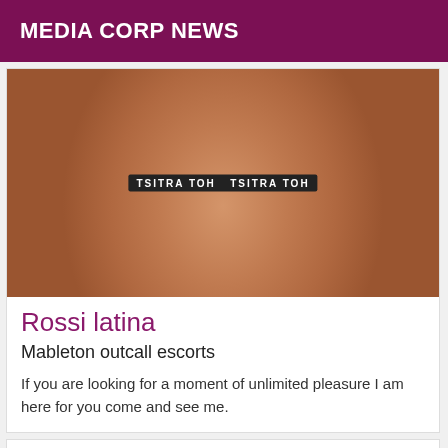MEDIA CORP NEWS
[Figure (photo): Close-up photo of a person wearing black underwear with text 'TSITRA TOH' on the waistband]
Rossi latina
Mableton outcall escorts
If you are looking for a moment of unlimited pleasure I am here for you come and see me.
Online